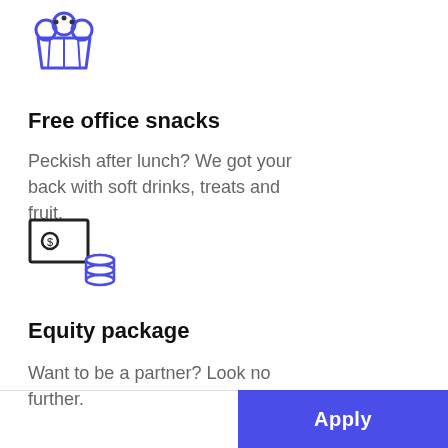[Figure (illustration): Muffin/cupcake icon in blue outline style]
Free office snacks
Peckish after lunch? We got your back with soft drinks, treats and fruit.
[Figure (illustration): Monitor with coin/database icon in blue outline style representing equity/finance]
Equity package
Want to be a partner? Look no further.
Apply